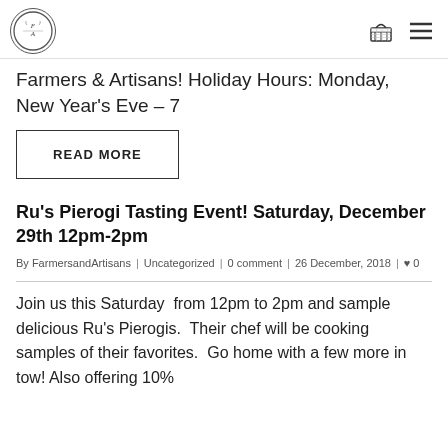FA [logo] [basket icon] [menu icon]
Farmers & Artisans! Holiday Hours: Monday, New Year's Eve – 7
READ MORE
Ru's Pierogi Tasting Event! Saturday, December 29th 12pm-2pm
By FarmersandArtisans | Uncategorized | 0 comment | 26 December, 2018 | ♥ 0
Join us this Saturday from 12pm to 2pm and sample delicious Ru's Pierogis. Their chef will be cooking samples of their favorites. Go home with a few more in tow! Also offering 10%